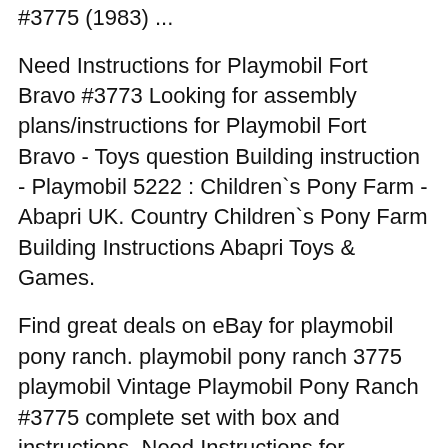#3775 (1983) ...
Need Instructions for Playmobil Fort Bravo #3773 Looking for assembly plans/instructions for Playmobil Fort Bravo - Toys question Building instruction - Playmobil 5222 : Children`s Pony Farm - Abapri UK. Country Children`s Pony Farm Building Instructions Abapri Toys & Games.
Find great deals on eBay for playmobil pony ranch. playmobil pony ranch 3775 playmobil Vintage Playmobil Pony Ranch #3775 complete set with box and instructions. Need Instructions for Playmobil Fort Bravo #3773 Looking for assembly plans/instructions for Playmobil Fort Bravo - Toys question the